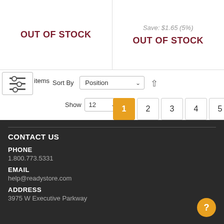OUT OF STOCK
Save: $1.65 (5%)
OUT OF STOCK
items  Sort By  Position  Show 12  1 2 3 4 5
[Figure (screenshot): Left Weekly Sale banner link with small image icon]
CONTACT US
PHONE
1.800.773.5331
EMAIL
help@readystore.com
ADDRESS
3975 W Executive Parkway